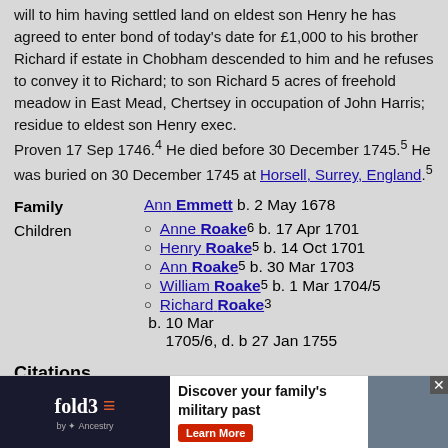will to him having settled land on eldest son Henry he has agreed to enter bond of today's date for £1,000 to his brother Richard if estate in Chobham descended to him and he refuses to convey it to Richard; to son Richard 5 acres of freehold meadow in East Mead, Chertsey in occupation of John Harris; residue to eldest son Henry exec.
Proven 17 Sep 1746.4 He died before 30 December 1745.5 He was buried on 30 December 1745 at Horsell, Surrey, England.5
Family: Ann Emmett b. 2 May 1678
Children: Anne Roake6 b. 17 Apr 1701; Henry Roake5 b. 14 Oct 1701; Ann Roake5 b. 30 Mar 1703; William Roake5 b. 1 Mar 1704/5; Richard Roake3 b. 10 Mar 1705/6, d. b 27 Jan 1755
Citations
[S1113] West Surrey Family History Society, W0002 'The Woking Collection' of Various local records...
[Figure (other): fold3 by Ancestry advertisement banner: 'Discover your family's military past - Learn More']